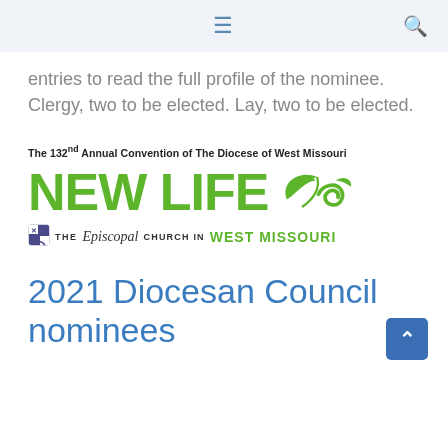≡  🔍
entries to read the full profile of the nominee. Clergy, two to be elected. Lay, two to be elected.
[Figure (logo): The 132nd Annual Convention of The Diocese of West Missouri — NEW LIFE logo with leaf graphics — The Episcopal Church in West Missouri]
2021 Diocesan Council nominees